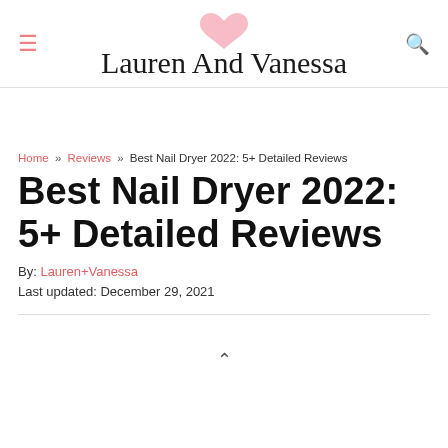Lauren And Vanessa
Home » Reviews » Best Nail Dryer 2022: 5+ Detailed Reviews
Best Nail Dryer 2022: 5+ Detailed Reviews
By: Lauren+Vanessa
Last updated: December 29, 2021